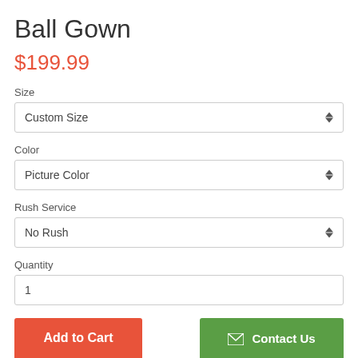Ball Gown
$199.99
Size
Custom Size
Color
Picture Color
Rush Service
No Rush
Quantity
1
Add to Cart
Contact Us